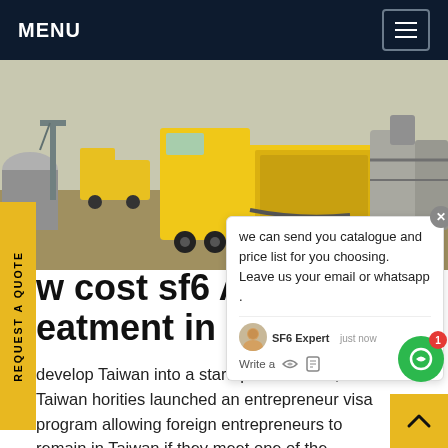MENU
[Figure (photo): Yellow utility/vacuum truck at an industrial site with large tanks and cranes in the background]
REQUEST A QUOTE
we can send you catalogue and price list for you choosing.
Leave us your email or whatsapp .
SF6 Expert  just now
Write a
w cost sf6 Altern s eatment in Taiwan
develop Taiwan into a startup hub in Asia, Taiwan horities launched an entrepreneur visa program allowing foreign entrepreneurs to remain in Taiwan if they meet one of the following requirements: ra at least NTD 2 million (USD 70,400) in funding; hold